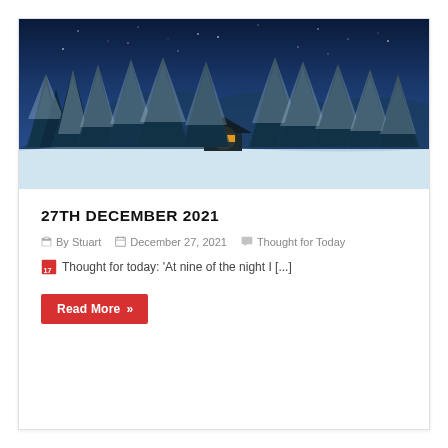[Figure (photo): Night winter scene with snow-covered pine trees, a small cabin with glowing window in the center, and a deep blue starry sky above snowy landscape.]
27TH DECEMBER 2021
By Stuart   December 27, 2021   Thought for Today
Thought for today: 'At nine of the night I [...]
Read More »